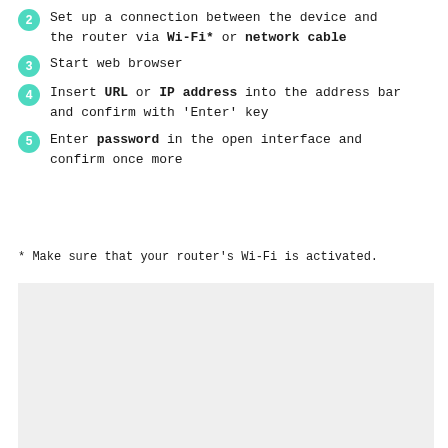2  Set up a connection between the device and the router via Wi-Fi* or network cable
3  Start web browser
4  Insert URL or IP address into the address bar and confirm with ‘Enter’ key
5  Enter password in the open interface and confirm once more
* Make sure that your router’s Wi-Fi is activated.
[Figure (other): Light grey rectangular image area placeholder at the bottom half of the page]